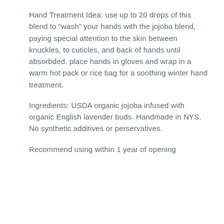Hand Treatment Idea: use up to 20 drops of this blend to “wash” your hands with the jojoba blend, paying special attention to the skin between knuckles, to cuticles, and back of hands until absorbded. place hands in gloves and wrap in a warm hot pack or rice bag for a soothing winter hand treatment.
Ingredients: USDA organic jojoba infused with organic English lavender buds. Handmade in NYS. No synthetic additives or perservatives.
Recommend using within 1 year of opening